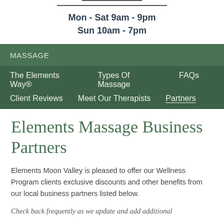Mon - Sat 9am - 9pm
Sun 10am - 7pm
MASSAGE
The Elements Way®    Types Of Massage    FAQs
Client Reviews    Meet Our Therapists    Partners
Elements Massage Business Partners
Elements Moon Valley is pleased to offer our Wellness Program clients exclusive discounts and other benefits from our local business partners listed below.
Check back frequently as we update and add additional